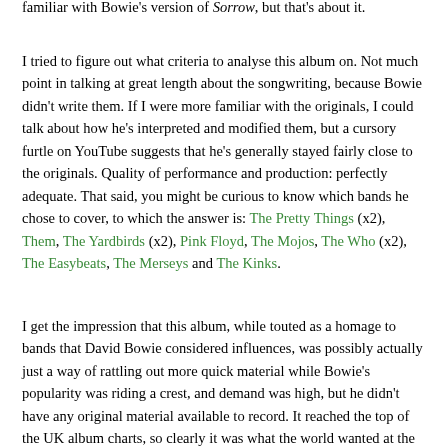familiar with Bowie's version of Sorrow, but that's about it.
I tried to figure out what criteria to analyse this album on. Not much point in talking at great length about the songwriting, because Bowie didn't write them. If I were more familiar with the originals, I could talk about how he's interpreted and modified them, but a cursory furtle on YouTube suggests that he's generally stayed fairly close to the originals. Quality of performance and production: perfectly adequate. That said, you might be curious to know which bands he chose to cover, to which the answer is: The Pretty Things (x2), Them, The Yardbirds (x2), Pink Floyd, The Mojos, The Who (x2), The Easybeats, The Merseys and The Kinks.
I get the impression that this album, while touted as a homage to bands that David Bowie considered influences, was possibly actually just a way of rattling out more quick material while Bowie's popularity was riding a crest, and demand was high, but he didn't have any original material available to record. It reached the top of the UK album charts, so clearly it was what the world wanted at the time.